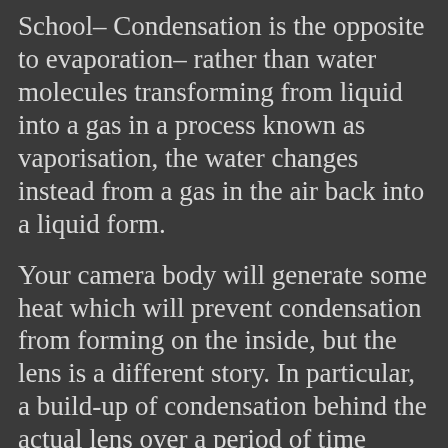School– Condensation is the opposite to evaporation– rather than water molecules transforming from liquid into a gas in a process known as vaporisation, the water changes instead from a gas in the air back into a liquid form.
Your camera body will generate some heat which will prevent condensation from forming on the inside, but the lens is a different story. In particular, a build-up of condensation behind the actual lens over a period of time could result in